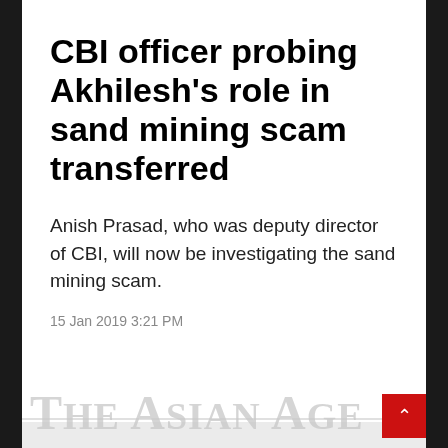CBI officer probing Akhilesh's role in sand mining scam transferred
Anish Prasad, who was deputy director of CBI, will now be investigating the sand mining scam.
15 Jan 2019 3:21 PM
[Figure (logo): The Asian Age newspaper logo in light grey]